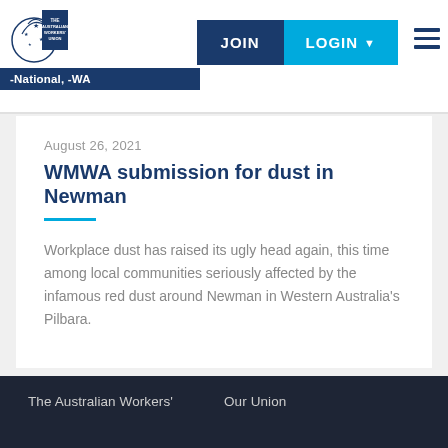The Australian Workers' Union — National, -WA | JOIN | LOGIN
August 26, 2021
WMWA submission for dust in Newman
Workplace dust has raised its ugly head again, this time among local communities seriously affected by the infamous red dust around Newman in Western Australia's Pilbara.
The Australian Workers' Union | Our Union